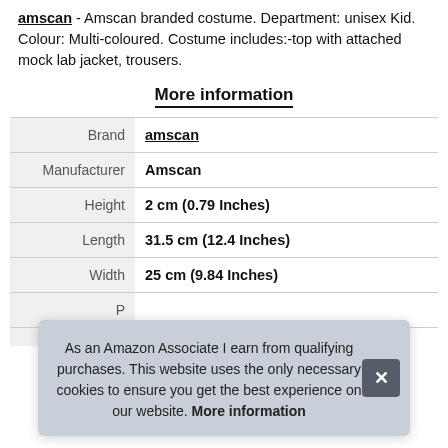amscan - Amscan branded costume. Department: unisex Kid. Colour: Multi-coloured. Costume includes:-top with attached mock lab jacket, trousers.
More information
|  |  |
| --- | --- |
| Brand | amscan |
| Manufacturer | Amscan |
| Height | 2 cm (0.79 Inches) |
| Length | 31.5 cm (12.4 Inches) |
| Width | 25 cm (9.84 Inches) |
| P |  |
As an Amazon Associate I earn from qualifying purchases. This website uses the only necessary cookies to ensure you get the best experience on our website. More information